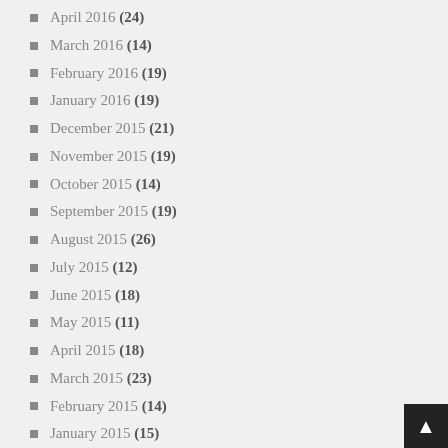April 2016 (24)
March 2016 (14)
February 2016 (19)
January 2016 (19)
December 2015 (21)
November 2015 (19)
October 2015 (14)
September 2015 (19)
August 2015 (26)
July 2015 (12)
June 2015 (18)
May 2015 (11)
April 2015 (18)
March 2015 (23)
February 2015 (14)
January 2015 (15)
December 2014 (17)